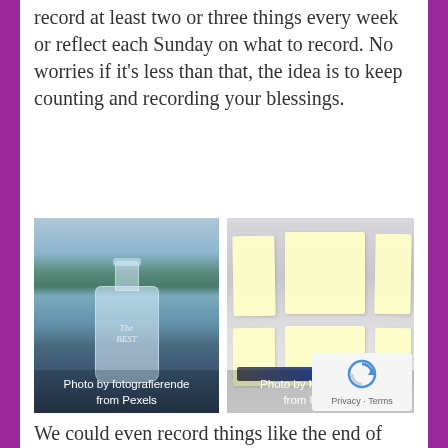record at least two or three things every week or reflect each Sunday on what to record. No worries if it's less than that, the idea is to keep counting and recording your blessings.
[Figure (photo): A glass bottle with 'The Best' embossed text, sitting near a body of water with trees in the blurred background. Caption reads 'Photo by fotografierende from Pexels']
[Figure (photo): Yellow sticky notes arranged on a white surface with a blue pen/marker. Caption reads 'Photo by Kelly Sikkema from Unsplash']
We could even record things like the end of